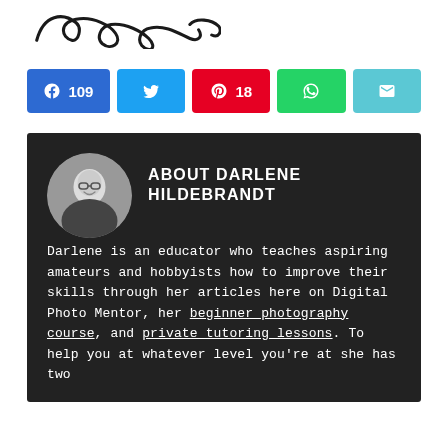Darlene (logo/signature)
[Figure (infographic): Social share buttons: Facebook 109, Twitter, Pinterest 18, WhatsApp, Email]
[Figure (photo): Circular black and white headshot of Darlene Hildebrandt smiling, wearing glasses]
ABOUT DARLENE HILDEBRANDT
Darlene is an educator who teaches aspiring amateurs and hobbyists how to improve their skills through her articles here on Digital Photo Mentor, her beginner photography course, and private tutoring lessons. To help you at whatever level you're at she has two